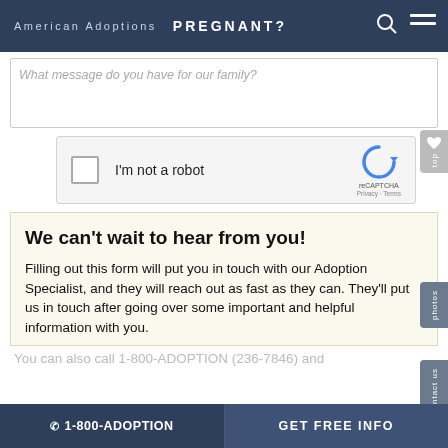American Adoptions  PREGNANT?
[Figure (screenshot): Partial view of a textarea form field with placeholder text: What message do you have for our family?]
[Figure (screenshot): reCAPTCHA widget with checkbox labeled I'm not a robot, reCAPTCHA logo, Privacy - Terms links]
We can't wait to hear from you!
Filling out this form will put you in touch with our Adoption Specialist, and they will reach out as fast as they can. They'll put us in touch after going over some important and helpful information with you.
You can also call 1-800-ADOPTION (236-7846) and
☎ 1-800-ADOPTION    GET FREE INFO